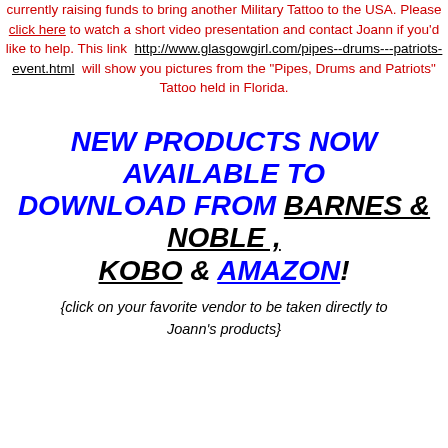currently raising funds to bring another Military Tattoo to the USA. Please click here to watch a short video presentation and contact Joann if you'd like to help. This link http://www.glasgowgirl.com/pipes--drums---patriots-event.html will show you pictures from the "Pipes, Drums and Patriots" Tattoo held in Florida.
NEW PRODUCTS NOW AVAILABLE TO DOWNLOAD FROM BARNES & NOBLE, KOBO & AMAZON!
{click on your favorite vendor to be taken directly to Joann's products}